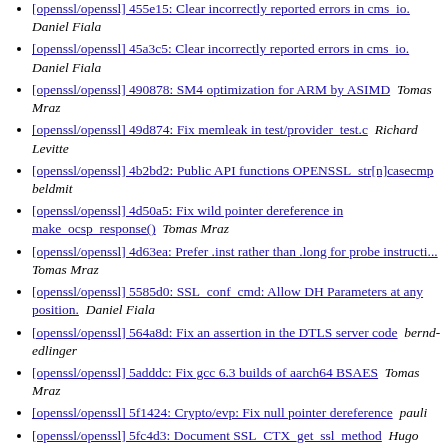[openssl/openssl] 455e15: Clear incorrectly reported errors in cms_io.  Daniel Fiala
[openssl/openssl] 45a3c5: Clear incorrectly reported errors in cms_io.  Daniel Fiala
[openssl/openssl] 490878: SM4 optimization for ARM by ASIMD  Tomas Mraz
[openssl/openssl] 49d874: Fix memleak in test/provider_test.c  Richard Levitte
[openssl/openssl] 4b2bd2: Public API functions OPENSSL_str[n]casecmp  beldmit
[openssl/openssl] 4d50a5: Fix wild pointer dereference in make_ocsp_response()  Tomas Mraz
[openssl/openssl] 4d63ea: Prefer .inst rather than .long for probe instructi...  Tomas Mraz
[openssl/openssl] 5585d0: SSL_conf_cmd: Allow DH Parameters at any position.  Daniel Fiala
[openssl/openssl] 564a8d: Fix an assertion in the DTLS server code  bernd-edlinger
[openssl/openssl] 5adddc: Fix gcc 6.3 builds of aarch64 BSAES  Tomas Mraz
[openssl/openssl] 5f1424: Crypto/evp: Fix null pointer dereference  pauli
[openssl/openssl] 5fc4d3: Document SSL_CTX_get_ssl_method  Hugo Landau